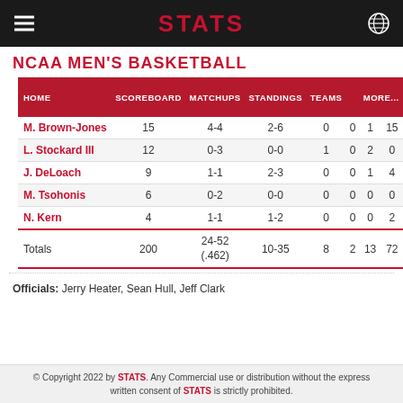STATS
NCAA MEN'S BASKETBALL
| HOME | SCOREBOARD | MATCHUPS | STANDINGS | TEAMS |  | MORE... |
| --- | --- | --- | --- | --- | --- | --- |
| M. Brown-Jones | 15 | 4-4 | 2-6 | 0 | 0 | 1 | 15 |
| L. Stockard III | 12 | 0-3 | 0-0 | 1 | 0 | 2 | 0 |
| J. DeLoach | 9 | 1-1 | 2-3 | 0 | 0 | 1 | 4 |
| M. Tsohonis | 6 | 0-2 | 0-0 | 0 | 0 | 0 | 0 |
| N. Kern | 4 | 1-1 | 1-2 | 0 | 0 | 0 | 2 |
| Totals | 200 | 24-52 (.462) | 10-35 | 8 | 2 | 13 | 72 |
Officials: Jerry Heater, Sean Hull, Jeff Clark
© Copyright 2022 by STATS. Any Commercial use or distribution without the express written consent of STATS is strictly prohibited.